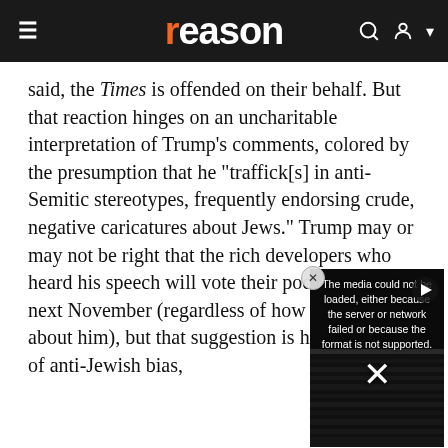reason
said, the Times is offended on their behalf. But that reaction hinges on an uncharitable interpretation of Trump's comments, colored by the presumption that he "traffick[s] in anti-Semitic stereotypes, frequently endorsing crude, negative caricatures about Jews." Trump may or may not be right that the rich developers who heard his speech will vote their pocketbooks next November (regardless of how they feel about him), but that suggestion is hardly proof of anti-Jewish bias,
[Figure (screenshot): Embedded video player showing an error message: 'The media could not be loaded, either because the server or network failed or because the format is not supported.' with a large X symbol and a play button overlay, displayed over a darkened background image of stacked papers/documents.]